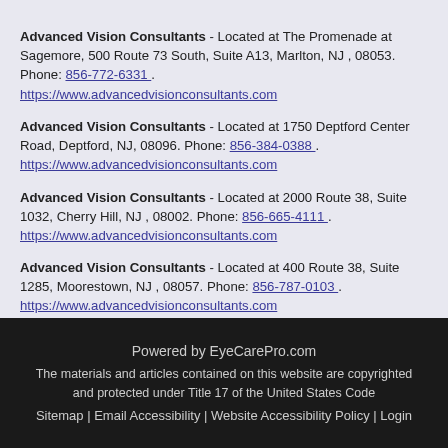Advanced Vision Consultants - Located at The Promenade at Sagemore, 500 Route 73 South, Suite A13, Marlton, NJ , 08053. Phone: 856-772-6331 . https://www.advancedvisionconsultants.com
Advanced Vision Consultants - Located at 1750 Deptford Center Road, Deptford, NJ, 08096. Phone: 856-384-0388 . https://www.advancedvisionconsultants.com
Advanced Vision Consultants - Located at 2000 Route 38, Suite 1032, Cherry Hill, NJ , 08002. Phone: 856-665-4111 . https://www.advancedvisionconsultants.com
Advanced Vision Consultants - Located at 400 Route 38, Suite 1285, Moorestown, NJ , 08057. Phone: 856-787-0103 . https://www.advancedvisionconsultants.com
Powered by EyeCarePro.com | The materials and articles contained on this website are copyrighted and protected under Title 17 of the United States Code | Sitemap | Email Accessibility | Website Accessibility Policy | Login